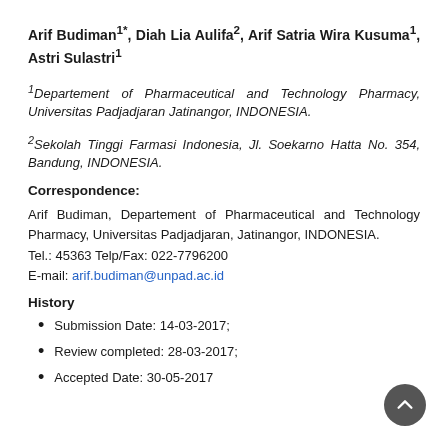Arif Budiman1*, Diah Lia Aulifa2, Arif Satria Wira Kusuma1, Astri Sulastri1
1Departement of Pharmaceutical and Technology Pharmacy, Universitas Padjadjaran Jatinangor, INDONESIA.
2Sekolah Tinggi Farmasi Indonesia, Jl. Soekarno Hatta No. 354, Bandung, INDONESIA.
Correspondence:
Arif Budiman, Departement of Pharmaceutical and Technology Pharmacy, Universitas Padjadjaran, Jatinangor, INDONESIA.
Tel.: 45363 Telp/Fax: 022-7796200
E-mail: arif.budiman@unpad.ac.id
History
Submission Date: 14-03-2017;
Review completed: 28-03-2017;
Accepted Date: 30-05-2017